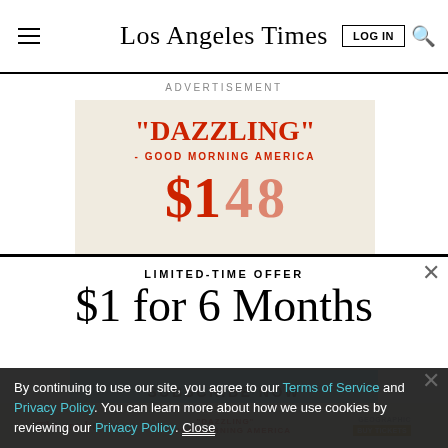Los Angeles Times
ADVERTISEMENT
[Figure (other): Advertisement banner with cream background showing: "DAZZLING" - GOOD MORNING AMERICA text in red, with large red price numbers partially visible at bottom]
LIMITED-TIME OFFER
$1 for 6 Months
SUBSCRIBE NOW
By continuing to use our site, you agree to our Terms of Service and Privacy Policy. You can learn more about how we use cookies by reviewing our Privacy Policy. Close